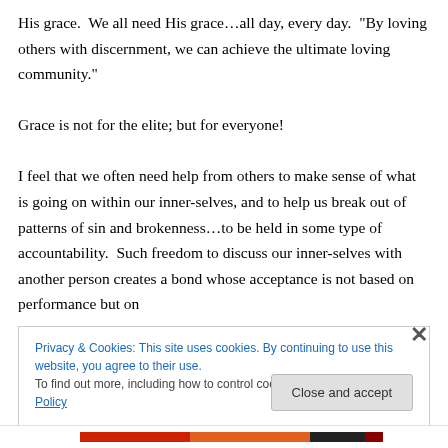His grace.  We all need His grace…all day, every day.  "By loving others with discernment, we can achieve the ultimate loving community."

Grace is not for the elite; but for everyone!

I feel that we often need help from others to make sense of what is going on within our inner-selves, and to help us break out of patterns of sin and brokenness…to be held in some type of accountability.  Such freedom to discuss our inner-selves with another person creates a bond whose acceptance is not based on performance but on
[Figure (screenshot): Cookie consent banner with text: 'Privacy & Cookies: This site uses cookies. By continuing to use this website, you agree to their use. To find out more, including how to control cookies, see here: Cookie Policy' and a 'Close and accept' button. There is also an X close icon on the right side.]